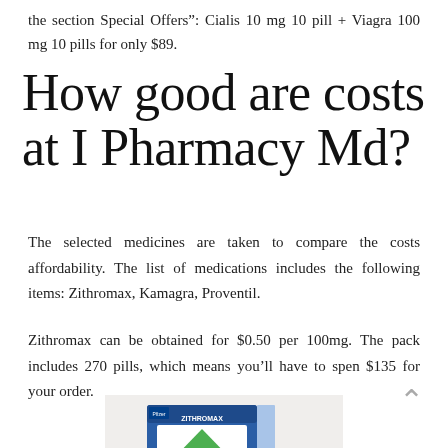the section Special Offers”: Cialis 10 mg 10 pill + Viagra 100 mg 10 pills for only $89.
How good are costs at I Pharmacy Md?
The selected medicines are taken to compare the costs affordability. The list of medications includes the following items: Zithromax, Kamagra, Proventil.
Zithromax can be obtained for $0.50 per 100mg. The pack includes 270 pills, which means you’ll have to spen $135 for your order.
[Figure (photo): Photo of Zithromax medication box and pills]